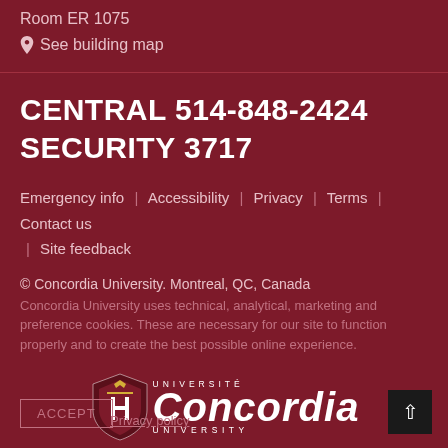Room ER 1075
See building map
CENTRAL 514-848-2424
SECURITY 3717
Emergency info | Accessibility | Privacy | Terms | Contact us | Site feedback
© Concordia University. Montreal, QC, Canada
Concordia University uses technical, analytical, marketing and preference cookies. These are necessary for our site to function properly and to create the best possible online experience.
[Figure (logo): Concordia University logo with shield icon and text UNIVERSITÉ Concordia UNIVERSITY]